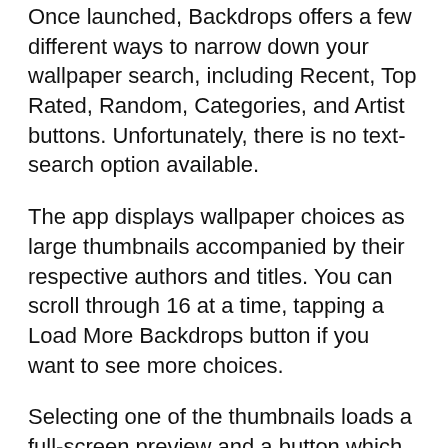Once launched, Backdrops offers a few different ways to narrow down your wallpaper search, including Recent, Top Rated, Random, Categories, and Artist buttons. Unfortunately, there is no text-search option available.
The app displays wallpaper choices as large thumbnails accompanied by their respective authors and titles. You can scroll through 16 at a time, tapping a Load More Backdrops button if you want to see more choices.
Selecting one of the thumbnails loads a full-screen preview and a button which allows you to save the image directly to your photostream for use as a wallpaper.
Backdrops is a superb replacement to having to...